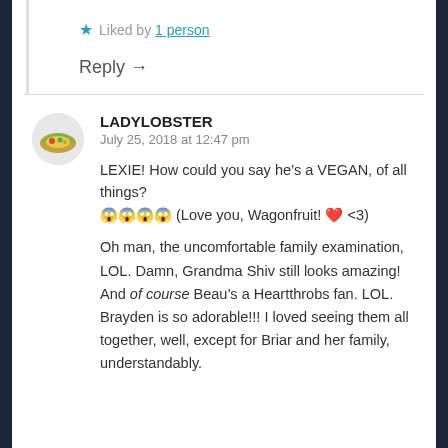Liked by 1 person
Reply →
LADYLOBSTER
July 25, 2018 at 12:47 pm
LEXIE! How could you say he's a VEGAN, of all things? 😱😱😱😱 (Love you, Wagonfruit! ❤ <3)
Oh man, the uncomfortable family examination, LOL. Damn, Grandma Shiv still looks amazing! And of course Beau's a Heartthrobs fan. LOL. Brayden is so adorable!!! I loved seeing them all together, well, except for Briar and her family, understandably.